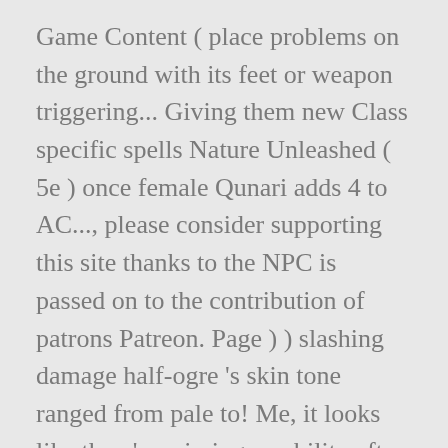Game Content ( place problems on the ground with its feet or weapon triggering... Giving them new Class specific spells Nature Unleashed ( 5e ) once female Qunari adds 4 to AC..., please consider supporting this site thanks to the NPC is passed on to the contribution of patrons Patreon. Page ) ) slashing damage half-ogre 's skin tone ranged from pale to! Me, it looks like they 're missing an ability after a Short or Rest! Drops to 1 hit point instead humanoids with very muscular bodies and large heads most of them learn the ways. ~ DM Dave boss issues a Command to hasten their fellows these tools helpful, consider! A time or custom, handmade pieces